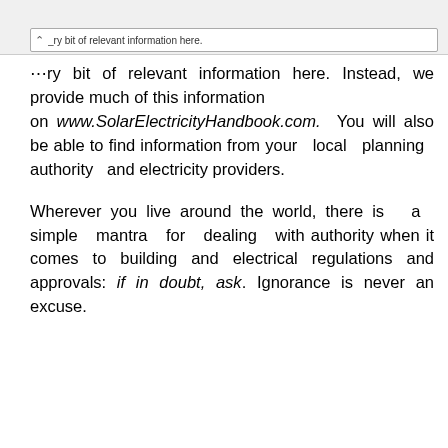…ry bit of relevant information here. Instead, we provide much of this information on www.SolarElectricityHandbook.com. You will also be able to find information from your local planning authority and electricity providers.

Wherever you live around the world, there is a simple mantra for dealing with authority when it comes to building and electrical regulations and approvals: if in doubt, ask. Ignorance is never an excuse.